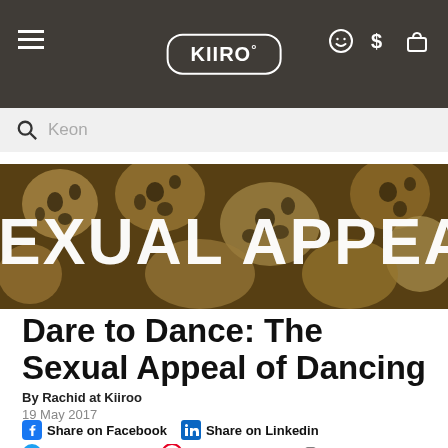KIIRO° [navigation header with logo, hamburger menu, and icons]
Keon [search bar]
[Figure (photo): Hero image showing people in animal-print clothing with large white text overlay reading 'SEXUAL APPEAL OF DA' (partially cropped)]
Dare to Dance: The Sexual Appeal of Dancing
By Rachid at Kiiroo
19 May 2017
Share on Facebook  Share on Linkedin  Tweet on Twitter  Pin on Pinterest  Copy